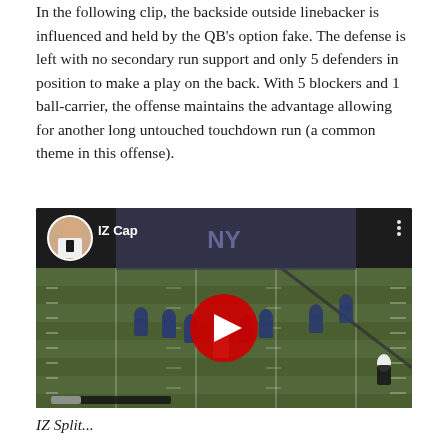In the following clip, the backside outside linebacker is influenced and held by the QB's option fake. The defense is left with no secondary run support and only 5 defenders in position to make a play on the back. With 5 blockers and 1 ball-carrier, the offense maintains the advantage allowing for another long untouched touchdown run (a common theme in this offense).
[Figure (screenshot): YouTube video embed showing a football play on an indoor field. The video thumbnail shows players lined up on the field with yard lines visible. A YouTube play button (red with white triangle) is centered on the video. The channel avatar (circular photo of a young man in a suit) and channel name 'IZ Cap' are visible in the top-left corner of the video.]
IZ Split...